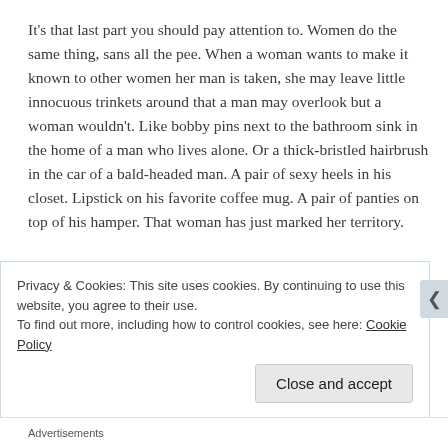It's that last part you should pay attention to. Women do the same thing, sans all the pee. When a woman wants to make it known to other women her man is taken, she may leave little innocuous trinkets around that a man may overlook but a woman wouldn't. Like bobby pins next to the bathroom sink in the home of a man who lives alone. Or a thick-bristled hairbrush in the car of a bald-headed man. A pair of sexy heels in his closet. Lipstick on his favorite coffee mug. A pair of panties on top of his hamper. That woman has just marked her territory.
Here's the ass backward rationale behind this behavior
Privacy & Cookies: This site uses cookies. By continuing to use this website, you agree to their use.
To find out more, including how to control cookies, see here: Cookie Policy
Close and accept
Advertisements